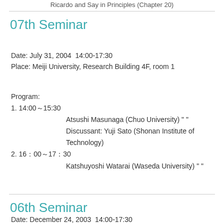Ricardo and Say in Principles (Chapter 20)
07th Seminar
Date: July 31, 2004  14:00-17:30
Place: Meiji University, Research Building 4F, room 1
Program:
1. 14:00～15:30
    Atsushi Masunaga (Chuo University) " "
    Discussant: Yuji Sato (Shonan Institute of Technology)
2. 16：00～17：30
    Katshuyoshi Watarai (Waseda University) " "
06th Seminar
Date: December 24, 2003  14:00-17:30